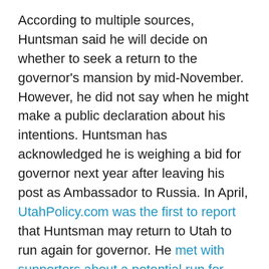According to multiple sources, Huntsman said he will decide on whether to seek a return to the governor's mansion by mid-November. However, he did not say when he might make a public declaration about his intentions. Huntsman has acknowledged he is weighing a bid for governor next year after leaving his post as Ambassador to Russia. In April, UtahPolicy.com was the first to report that Huntsman may return to Utah to run again for governor. He met with supporters about a potential run for governor during a visit to Utah in June for the birth of a grandchild.
According to those in attendance at the event, the “room was packed” with supporters and well-wishers who were “excited” about his potential gubernatorial run next year.
A spokesperson for Huntsman confirmed his attendance at the event on Wednesday, and said an announcement about running in 2020 would likely be forthcoming.